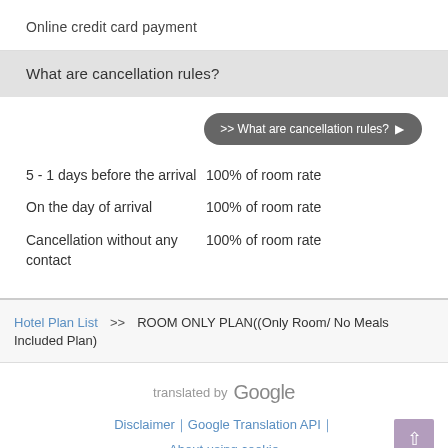Online credit card payment
What are cancellation rules?
>> What are cancellation rules? ▶
5 - 1 days before the arrival    100% of room rate
On the day of arrival    100% of room rate
Cancellation without any contact    100% of room rate
Hotel Plan List  >>  ROOM ONLY PLAN((Only Room/ No Meals Included Plan)
translated by Google
Disclaimer|Google Translation API|
About using cookie